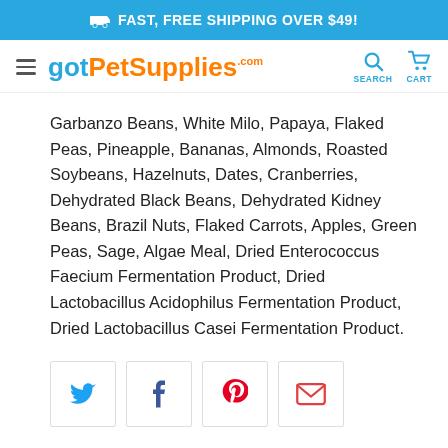FAST, FREE SHIPPING OVER $49!
[Figure (logo): gotPetSupplies.com logo with hamburger menu, search and cart icons]
Garbanzo Beans, White Milo, Papaya, Flaked Peas, Pineapple, Bananas, Almonds, Roasted Soybeans, Hazelnuts, Dates, Cranberries, Dehydrated Black Beans, Dehydrated Kidney Beans, Brazil Nuts, Flaked Carrots, Apples, Green Peas, Sage, Algae Meal, Dried Enterococcus Faecium Fermentation Product, Dried Lactobacillus Acidophilus Fermentation Product, Dried Lactobacillus Casei Fermentation Product.
[Figure (infographic): Social share buttons: Twitter (blue bird), Facebook (dark blue f), Pinterest (red P), Email (red envelope)]